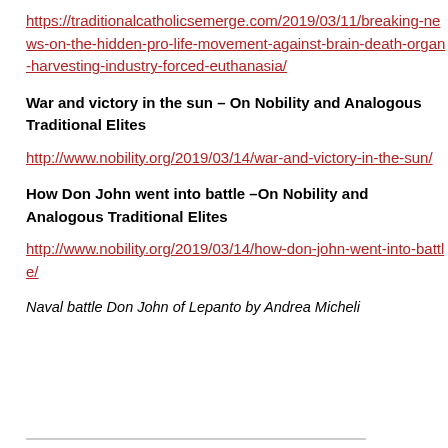https://traditionalcatholicsemerge.com/2019/03/11/breaking-news-on-the-hidden-pro-life-movement-against-brain-death-organ-harvesting-industry-forced-euthanasia/
War and victory in the sun – On Nobility and Analogous Traditional Elites
http://www.nobility.org/2019/03/14/war-and-victory-in-the-sun/
How Don John went into battle –On Nobility and Analogous Traditional Elites
http://www.nobility.org/2019/03/14/how-don-john-went-into-battle/
Naval battle Don John of Lepanto by Andrea Micheli